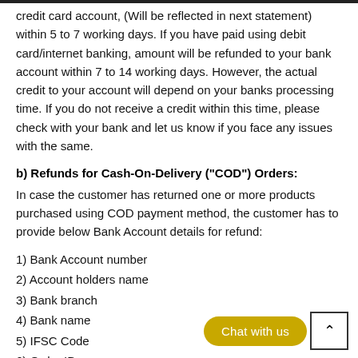credit card account, (Will be reflected in next statement) within 5 to 7 working days. If you have paid using debit card/internet banking, amount will be refunded to your bank account within 7 to 14 working days. However, the actual credit to your account will depend on your banks processing time. If you do not receive a credit within this time, please check with your bank and let us know if you face any issues with the same.
b) Refunds for Cash-On-Delivery ("COD") Orders:
In case the customer has returned one or more products purchased using COD payment method, the customer has to provide below Bank Account details for refund:
1) Bank Account number
2) Account holders name
3) Bank branch
4) Bank name
5) IFSC Code
6) Order ID